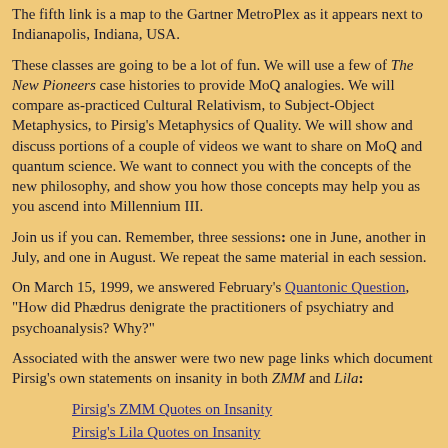The fifth link is a map to the Gartner MetroPlex as it appears next to Indianapolis, Indiana, USA.
These classes are going to be a lot of fun. We will use a few of The New Pioneers case histories to provide MoQ analogies. We will compare as-practiced Cultural Relativism, to Subject-Object Metaphysics, to Pirsig's Metaphysics of Quality. We will show and discuss portions of a couple of videos we want to share on MoQ and quantum science. We want to connect you with the concepts of the new philosophy, and show you how those concepts may help you as you ascend into Millennium III.
Join us if you can. Remember, three sessions: one in June, another in July, and one in August. We repeat the same material in each session.
On March 15, 1999, we answered February's Quantonic Question, "How did Phædrus denigrate the practitioners of psychiatry and psychoanalysis? Why?"
Associated with the answer were two new page links which document Pirsig's own statements on insanity in both ZMM and Lila:
Pirsig's ZMM Quotes on Insanity
Pirsig's Lila Quotes on Insanity